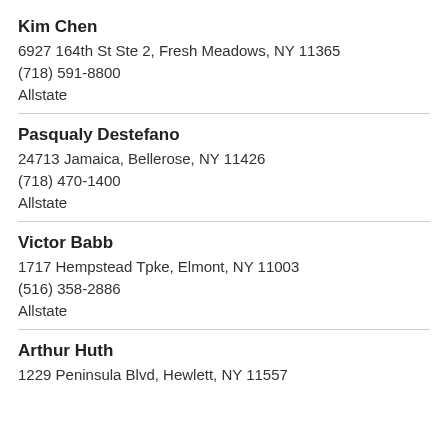Kim Chen
6927 164th St Ste 2, Fresh Meadows, NY 11365
(718) 591-8800
Allstate
Pasqualy Destefano
24713 Jamaica, Bellerose, NY 11426
(718) 470-1400
Allstate
Victor Babb
1717 Hempstead Tpke, Elmont, NY 11003
(516) 358-2886
Allstate
Arthur Huth
1229 Peninsula Blvd, Hewlett, NY 11557